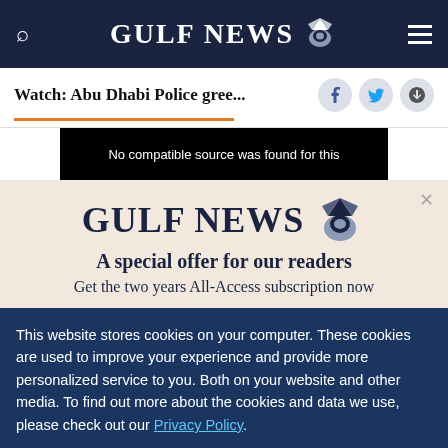GULF NEWS
Watch: Abu Dhabi Police gree...
No compatible source was found for this
GULF NEWS
A special offer for our readers
Get the two years All-Access subscription now
This website stores cookies on your computer. These cookies are used to improve your experience and provide more personalized service to you. Both on your website and other media. To find out more about the cookies and data we use, please check out our Privacy Policy.
OK